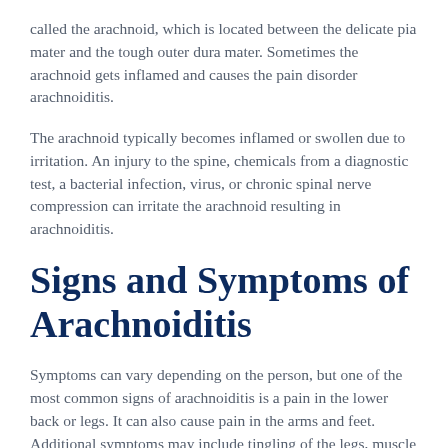called the arachnoid, which is located between the delicate pia mater and the tough outer dura mater. Sometimes the arachnoid gets inflamed and causes the pain disorder arachnoiditis.
The arachnoid typically becomes inflamed or swollen due to irritation. An injury to the spine, chemicals from a diagnostic test, a bacterial infection, virus, or chronic spinal nerve compression can irritate the arachnoid resulting in arachnoiditis.
Signs and Symptoms of Arachnoiditis
Symptoms can vary depending on the person, but one of the most common signs of arachnoiditis is a pain in the lower back or legs. It can also cause pain in the arms and feet. Additional symptoms may include tingling of the legs, muscle cramps, shooting pain throughout the back and legs, and losing control over